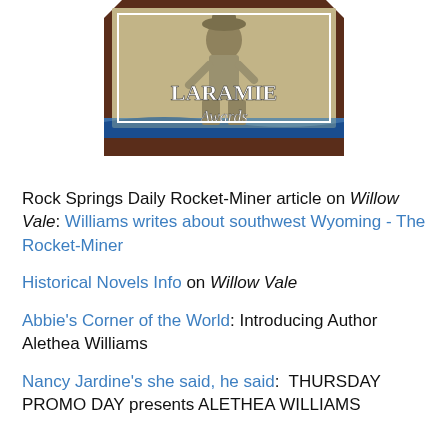[Figure (illustration): Laramie Awards badge/logo showing a cowboy figure with 'LARAMIE Awards' text, framed in a decorative brown and blue shield shape]
Rock Springs Daily Rocket-Miner article on Willow Vale: Williams writes about southwest Wyoming - The Rocket-Miner
Historical Novels Info on Willow Vale
Abbie's Corner of the World: Introducing Author Alethea Williams
Nancy Jardine's she said, he said:  THURSDAY PROMO DAY presents ALETHEA WILLIAMS